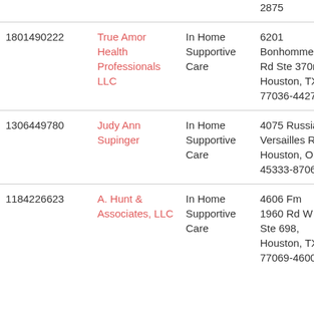| NPI | Name | Type | Address | Date |
| --- | --- | --- | --- | --- |
|  |  |  | 2875 |  |
| 1801490222 | True Amor Health Professionals LLC | In Home Supportive Care | 6201 Bonhomme Rd Ste 370n, Houston, TX 77036-4427 | 2020-11- |
| 1306449780 | Judy Ann Supinger | In Home Supportive Care | 4075 Russia Versailles Rd, Houston, OH 45333-8706 | 2020-11- |
| 1184226623 | A. Hunt & Associates, LLC | In Home Supportive Care | 4606 Fm 1960 Rd W Ste 698, Houston, TX 77069-4600 | 2020-11- |